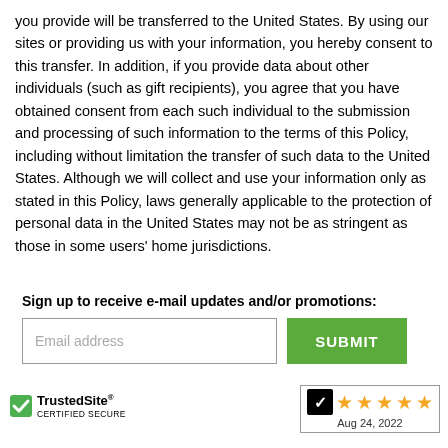you provide will be transferred to the United States. By using our sites or providing us with your information, you hereby consent to this transfer. In addition, if you provide data about other individuals (such as gift recipients), you agree that you have obtained consent from each such individual to the submission and processing of such information to the terms of this Policy, including without limitation the transfer of such data to the United States. Although we will collect and use your information only as stated in this Policy, laws generally applicable to the protection of personal data in the United States may not be as stringent as those in some users' home jurisdictions.
back to top
Sign up to receive e-mail updates and/or promotions:
[Figure (other): Email address input field and green SUBMIT button]
[Figure (logo): TrustedSite CERTIFIED SECURE logo with green checkmark]
[Figure (other): Five orange stars rating badge with date Aug 24, 2022]